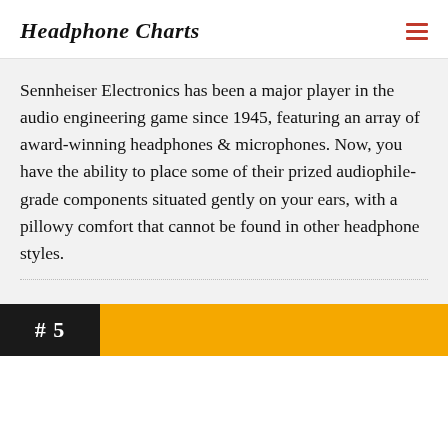Headphone Charts
Sennheiser Electronics has been a major player in the audio engineering game since 1945, featuring an array of award-winning headphones & microphones. Now, you have the ability to place some of their prized audiophile-grade components situated gently on your ears, with a pillowy comfort that cannot be found in other headphone styles.
# 5